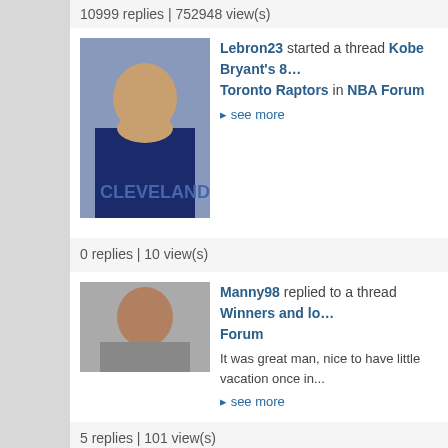10999 replies | 752948 view(s)
Lebron23 started a thread Kobe Bryant's 81 vs Toronto Raptors in NBA Forum ▸ see more
0 replies | 10 view(s)
Manny98 replied to a thread Winners and lo... Forum
It was great man, nice to have little vacation once in... ▸ see more
5 replies | 101 view(s)
Lakers Legend#32 replied to a thread Biden... Political Discussion
Donald Trump filled for bankruptcy six times, but OK... ▸ see more